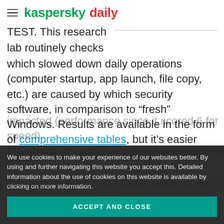kaspersky daily
TEST. This research lab routinely checks which slowed down daily operations (computer startup, app launch, file copy, etc.) are caused by which security software, in comparison to “fresh” Windows. Results are available in the form of comprehensive tables, but it’s easier just to “count stars,” as with NCAP. Again-Kaspersky Internet Security has the least impacted (performance since it scored 6 for speed). Free products, which are typically considered light – all the usual suspects like Avast, Avira, or AVG, com
We use cookies to make your experience of our websites better. By using and further navigating this website you accept this. Detailed information about the use of cookies on this website is available by clicking on more information.
ACCEPT AND CLOSE